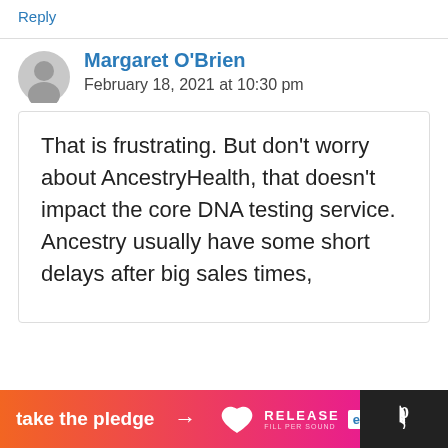Reply
Margaret O'Brien
February 18, 2021 at 10:30 pm
That is frustrating. But don't worry about AncestryHealth, that doesn't impact the core DNA testing service. Ancestry usually have some short delays after big sales times,
[Figure (infographic): Advertisement banner: orange-to-pink gradient with 'take the pledge —>' text, Release logo with heart icon, and an Ed logo box, plus a dark right section with stylized W logo]